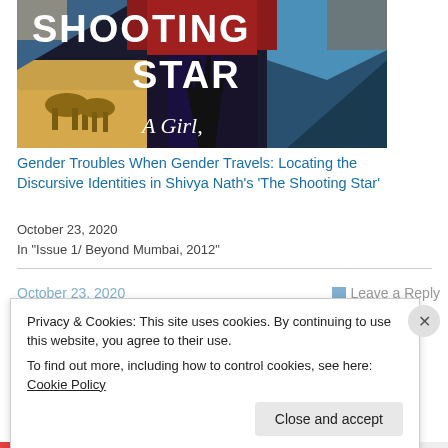[Figure (photo): Book cover for 'The Shooting Star: A Girl,' featuring collage of travel photos including camels in desert, mountains, ocean, galaxy/space, hands — bold white text overlay on dark triangular shapes]
Gender Troubles When Gender Travels: Locating the Discursive Identities in Shivya Nath's 'The Shooting Star'
October 23, 2020
In "Issue 1/ Beyond Mumbai, 2012"
October 23, 2020
Leave a Reply
Privacy & Cookies: This site uses cookies. By continuing to use this website, you agree to their use.
To find out more, including how to control cookies, see here: Cookie Policy